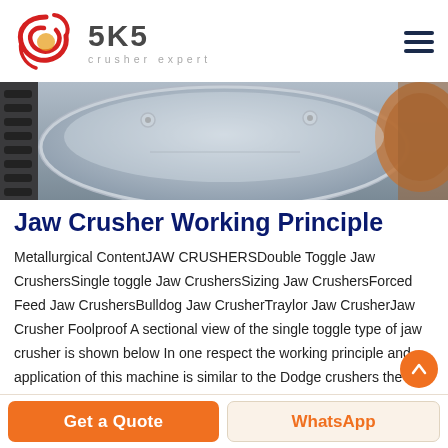SKS crusher expert
[Figure (photo): Close-up photo of industrial jaw crusher mechanical components, showing metal discs and bolts in grey tones]
Jaw Crusher Working Principle
Metallurgical ContentJAW CRUSHERSDouble Toggle Jaw CrushersSingle toggle Jaw CrushersSizing Jaw CrushersForced Feed Jaw CrushersBulldog Jaw CrusherTraylor Jaw CrusherJaw Crusher Foolproof A sectional view of the single toggle type of jaw crusher is shown below In one respect the working principle and application of this machine is similar to the Dodge crushers the
Get a Quote   WhatsApp